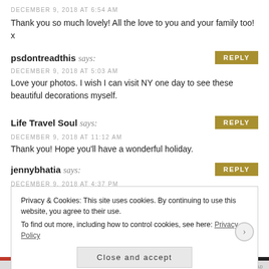DECEMBER 9, 2018 AT 6:54 AM
Thank you so much lovely! All the love to you and your family too! x
psdontreadthis says:
DECEMBER 9, 2018 AT 5:03 AM
Love your photos. I wish I can visit NY one day to see these beautiful decorations myself.
Life Travel Soul says:
DECEMBER 9, 2018 AT 11:12 AM
Thank you! Hope you'll have a wonderful holiday.
jennybhatia says:
DECEMBER 9, 2018 AT 4:37 PM
Privacy & Cookies: This site uses cookies. By continuing to use this website, you agree to their use. To find out more, including how to control cookies, see here: Privacy Policy
Close and accept